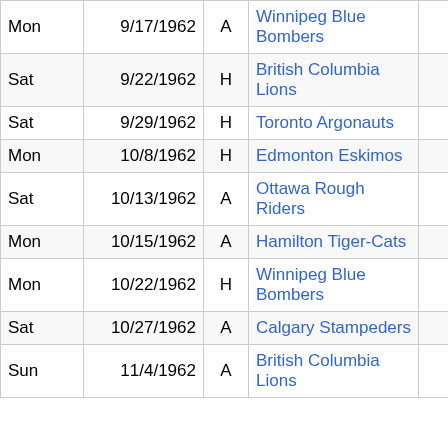| Day | Date | H/A | Opponent | Score | W/L | Location | Stadium |
| --- | --- | --- | --- | --- | --- | --- | --- |
| Mon | 9/17/1962 | A | Winnipeg Blue Bombers | 18-20 | L | Winnipeg, MB | Wi... St... |
| Sat | 9/22/1962 | H | British Columbia Lions | 26-14 | W | Regina, SK | Ta... |
| Sat | 9/29/1962 | H | Toronto Argonauts | 21-17 | W | Regina, SK | Ta... |
| Mon | 10/8/1962 | H | Edmonton Eskimos | 28-20 | W | Regina, SK | Ta... |
| Sat | 10/13/1962 | A | Ottawa Rough Riders | 29-21 | W | Ottawa, ON | La... Pa... |
| Mon | 10/15/1962 | A | Hamilton Tiger-Cats | 21-67 | L | Hamilton, ON | Ci... St... |
| Mon | 10/22/1962 | H | Winnipeg Blue Bombers | 8-17 | L | Regina, SK | Ta... |
| Sat | 10/27/1962 | A | Calgary Stampeders | 23-15 | W | Calgary, AB | Mo... St... |
| Sun | 11/4/1962 | A | British Columbia Lions | 8-28 | L | Vancouver, BC | En... St... |